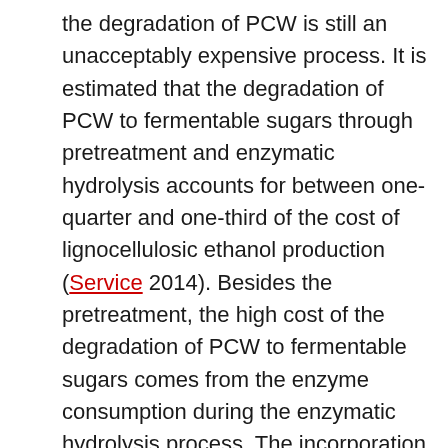the degradation of PCW is still an unacceptably expensive process. It is estimated that the degradation of PCW to fermentable sugars through pretreatment and enzymatic hydrolysis accounts for between one-quarter and one-third of the cost of lignocellulosic ethanol production (Service 2014). Besides the pretreatment, the high cost of the degradation of PCW to fermentable sugars comes from the enzyme consumption during the enzymatic hydrolysis process. The incorporation of cell wall-degrading enzymes into growing plants not only can simplify the pretreatment process but also can decrease the enzyme consumption during the enzymatic hydrolysis process. Therefore, to engineer a cell wall-degrading enzyme into growing plants is considered to be a promising solution to lower the PCW degradation cost for lignocellulosic ethanol production (Wang et al